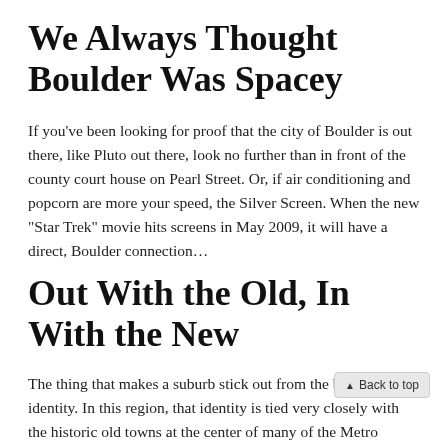We Always Thought Boulder Was Spacey
If you've been looking for proof that the city of Boulder is out there, like Pluto out there, look no further than in front of the county court house on Pearl Street. Or, if air conditioning and popcorn are more your speed, the Silver Screen. When the new “Star Trek” movie hits screens in May 2009, it will have a direct, Boulder connection…
Out With the Old, In With the New
The thing that makes a suburb stick out from the bland is its identity. In this region, that identity is tied very closely with the historic old towns at the center of many of the Metro communities…